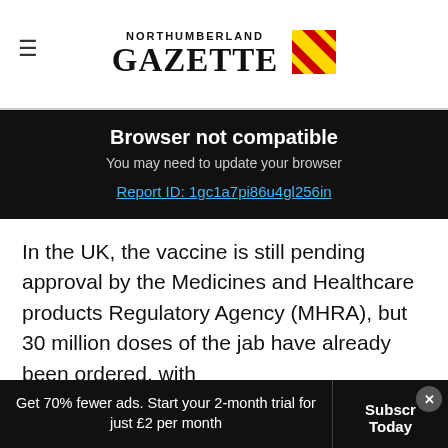NORTHUMBERLAND GAZETTE
Browser not compatible
You may need to update your browser
Report ID: 1gc1a7pi86u4gl256in
In the UK, the vaccine is still pending approval by the Medicines and Healthcare products Regulatory Agency (MHRA), but 30 million doses of the jab have already been ordered, with the option of millions more.
Get 70% fewer ads. Start your 2-month trial for just £2 per month   Subscribe Today